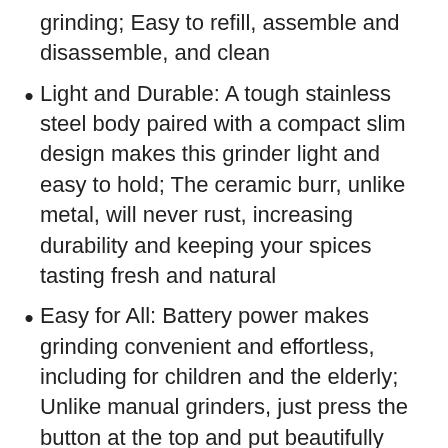grinding; Easy to refill, assemble and disassemble, and clean
Light and Durable: A tough stainless steel body paired with a compact slim design makes this grinder light and easy to hold; The ceramic burr, unlike metal, will never rust, increasing durability and keeping your spices tasting fresh and natural
Easy for All: Battery power makes grinding convenient and effortless, including for children and the elderly; Unlike manual grinders, just press the button at the top and put beautifully ground pepper on any dish; Please note that batteries are not included